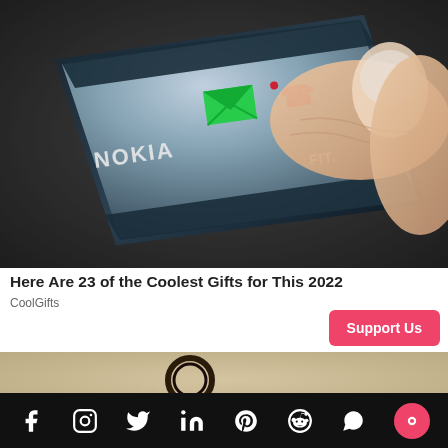[Figure (photo): Close-up photograph of a finger holding a small Nokia-branded fitness wearable device with green envelope icon, red phone icon, and 'FIT.' text on the device surface against dark textured background.]
Here Are 23 of the Coolest Gifts for This 2022
CoolGifts
[Figure (photo): Partial view of a dark object (key ring or accessory) on a sandy/beige textured surface.]
Social media icons: Facebook, Instagram, Twitter, LinkedIn, Pinterest, Reddit, WhatsApp, Chat